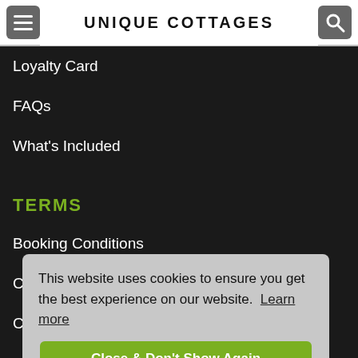UNIQUE COTTAGES
Loyalty Card
FAQs
What's Included
TERMS
Booking Conditions
Cancellation Cover
Cookie Policy
Privacy Policy
Sitemap
CONTACT US
Call +44 (0)1835 822 277
This website uses cookies to ensure you get the best experience on our website. Learn more
Close & Don't Show Again